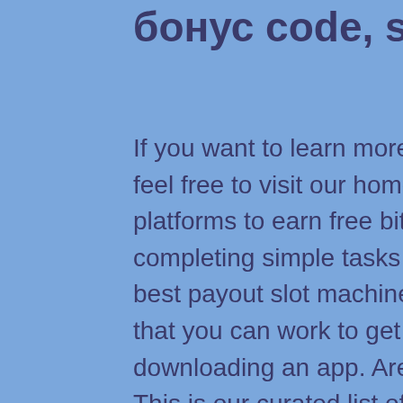бонус code, satoshi bitstarz
If you want to learn more about bitcoins and cryptocurrency, feel free to visit our homepage. Bitcoin faucets are great platforms to earn free bitcoins by simply visiting a website and completing simple tasks like captcha or surveys, what are the best payout slot machines. Faucets offer different activities that you can work to get paid including playing games and downloading an app. Are you interested to earn free bitcoins? This is our curated list of the best-paying, most reliable and legit free Bitcoin faucets right now, what are the best payout slot machines. Back in 2010, the first bitcoin faucet was created by Gavin Andresen to grow the bitcoin community by giving away free bitcoins, satoshi bitstarz. Asia safe forum - member profile &gt; profile page. User: bitstarz žádný vkladový bonus